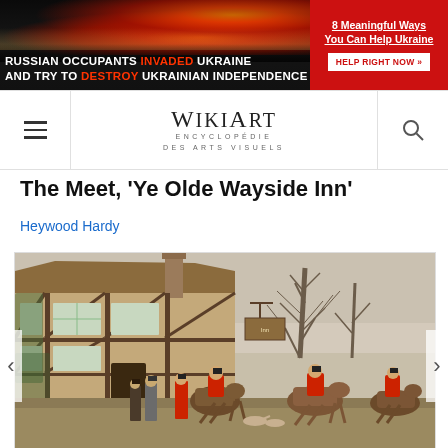[Figure (screenshot): Banner with dark background showing fire/explosion over city at night with text about Russian invasion of Ukraine on the left, and a red banner on the right with '8 Meaningful Ways You Can Help Ukraine' and a 'HELP RIGHT NOW' button]
WikiArt Encyclopédie des Arts Visuels
The Meet, 'Ye Olde Wayside Inn'
Heywood Hardy
[Figure (photo): Painting showing a fox hunting scene outside a Tudor-style inn called 'Ye Olde Wayside Inn'. Fox hunters in red coats on horseback gather outside the inn, with other figures on foot. Bare winter trees are visible in the background.]